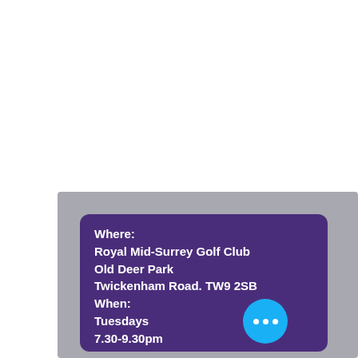Where: Royal Mid-Surrey Golf Club Old Deer Park Twickenham Road. TW9 2SB When: Tuesdays 7.30-9.30pm